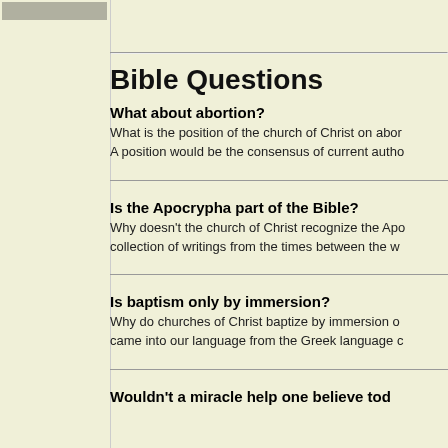Bible Questions
What about abortion?
What is the position of the church of Christ on abor... A position would be the consensus of current autho...
Is the Apocrypha part of the Bible?
Why doesn't the church of Christ recognize the Apo... collection of writings from the times between the w...
Is baptism only by immersion?
Why do churches of Christ baptize by immersion o... came into our language from the Greek language c...
Wouldn't a miracle help one believe tod...